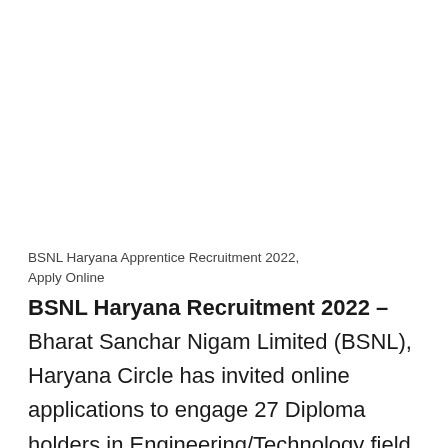BSNL Haryana Apprentice Recruitment 2022, Apply Online
BSNL Haryana Recruitment 2022 – Bharat Sanchar Nigam Limited (BSNL), Haryana Circle has invited online applications to engage 27 Diploma holders in Engineering/Technology field for apprenticeship training under the Apprentices Act 1961 for a period of one